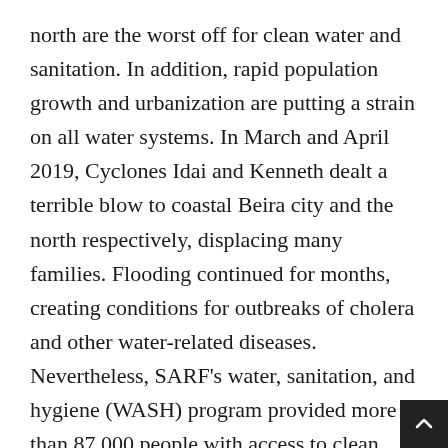north are the worst off for clean water and sanitation. In addition, rapid population growth and urbanization are putting a strain on all water systems. In March and April 2019, Cyclones Idai and Kenneth dealt a terrible blow to coastal Beira city and the north respectively, displacing many families. Flooding continued for months, creating conditions for outbreaks of cholera and other water-related diseases. Nevertheless, SARF's water, sanitation, and hygiene (WASH) program provided more than 87,000 people with access to clean water and helped nearly 74,000 people gain household sanitation.